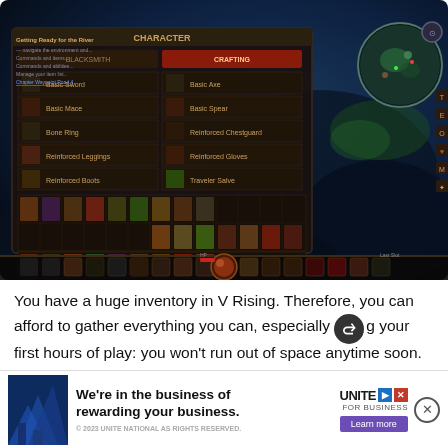[Figure (screenshot): Screenshot of V Rising game showing the crafting/character inventory interface with items, a dark fantasy environment, and a minimap in the top-right corner.]
You have a huge inventory in V Rising. Therefore, you can afford to gather everything you can, especially during your first hours of play: you won't run out of space anytime soon. The game relies heavily on crafting... the best e... want
[Figure (infographic): Advertisement banner: 'We're in the business of rewarding your business.' with UNITE FOR BUSINESS logo and Learn more button.]